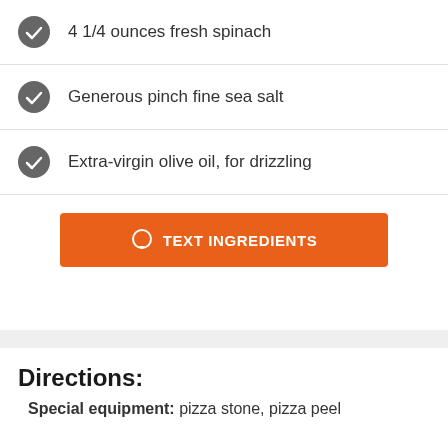4 1/4 ounces fresh spinach
Generous pinch fine sea salt
Extra-virgin olive oil, for drizzling
TEXT INGREDIENTS
Directions:
Special equipment: pizza stone, pizza peel